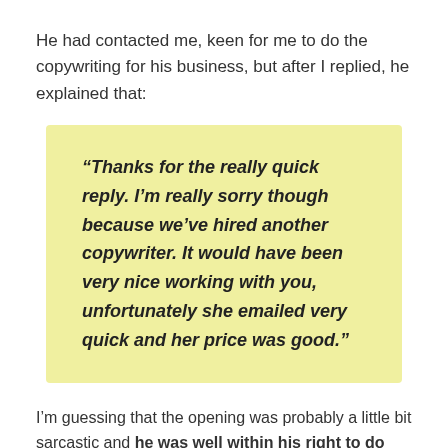He had contacted me, keen for me to do the copywriting for his business, but after I replied, he explained that:
“Thanks for the really quick reply. I’m really sorry though because we’ve hired another copywriter. It would have been very nice working with you, unfortunately she emailed very quick and her price was good.”
I’m guessing that the opening was probably a little bit sarcastic and he was well within his right to do